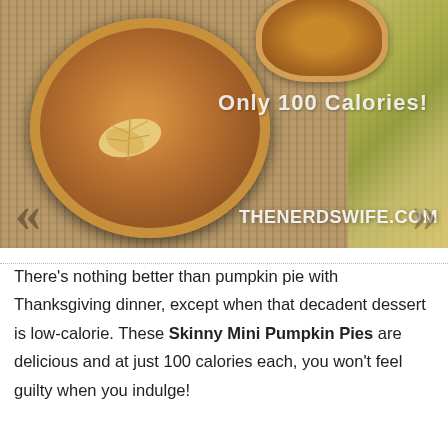[Figure (photo): Overhead photo of mini pumpkin pies on burlap background with leaf pastry decoration. Text overlays read 'Only 100 Calories!' and 'THENERDSWIFE.COM']
There's nothing better than pumpkin pie with Thanksgiving dinner, except when that decadent dessert is low-calorie. These Skinny Mini Pumpkin Pies are delicious and at just 100 calories each, you won't feel guilty when you indulge!